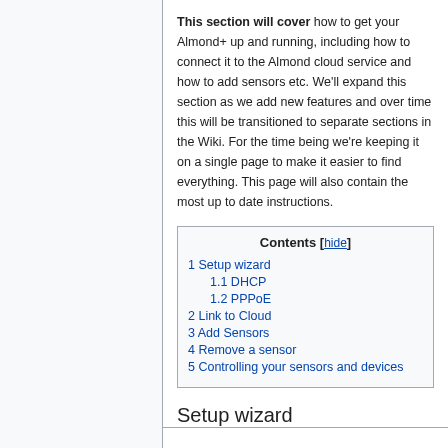This section will cover how to get your Almond+ up and running, including how to connect it to the Almond cloud service and how to add sensors etc. We'll expand this section as we add new features and over time this will be transitioned to separate sections in the Wiki. For the time being we're keeping it on a single page to make it easier to find everything. This page will also contain the most up to date instructions.
| Contents |
| --- |
| 1 Setup wizard |
| 1.1 DHCP |
| 1.2 PPPoE |
| 2 Link to Cloud |
| 3 Add Sensors |
| 4 Remove a sensor |
| 5 Controlling your sensors and devices |
Setup wizard